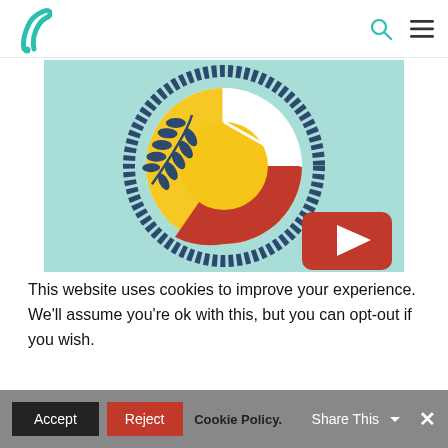F logo, search icon, menu icon
[Figure (illustration): Circular donut-style illustration on teal/mint background. A large outer dashed/segmented dark blue circle ring. Inside: a donut chart with a yellow arc section (left), red arc section (right/bottom), and white gap. A dark navy olive/laurel branch overlays the left side. The center is a solid yellow circle. Bottom right corner shows a partial YouTube red play button icon.]
This website uses cookies to improve your experience. We'll assume you're ok with this, but you can opt-out if you wish.
Accept | Reject | Cookie Policy | Share This | ×